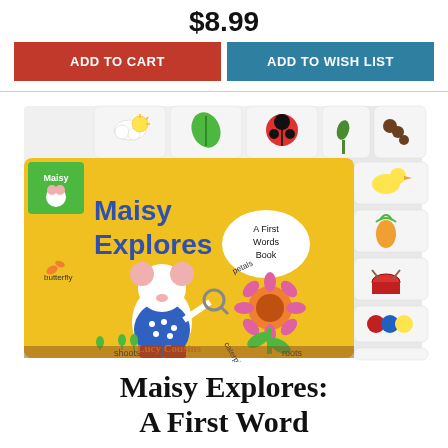$8.99
ADD TO CART
ADD TO WISH LIST
[Figure (photo): Book cover of 'Maisy Explores: A First Words Book' by Lucy Cousins. Yellow cover featuring Maisy mouse holding a magnifying glass next to a sunflower, with labeled parts: butterfly, petals, caterpillar, shoots, roots. Tab pages visible on right with icons: cloud/sun, leaf, ladybug, plant, worm, duck, pineapple, drum, colored dots, map.]
Maisy Explores:
A First Word